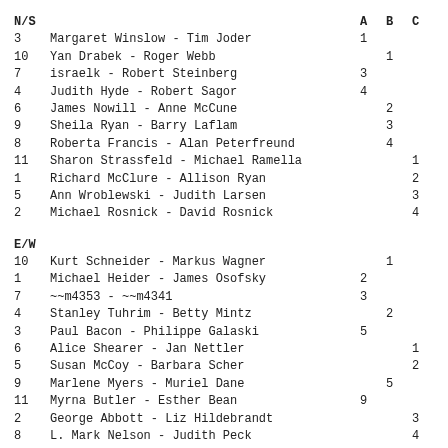| N/S |  | A | B | C |
| --- | --- | --- | --- | --- |
| 3 | Margaret Winslow - Tim Joder | 1 |  |  |
| 10 | Yan Drabek - Roger Webb |  | 1 |  |
| 7 | israelk - Robert Steinberg | 3 |  |  |
| 4 | Judith Hyde - Robert Sagor | 4 |  |  |
| 6 | James Nowill - Anne McCune |  | 2 |  |
| 9 | Sheila Ryan - Barry Laflam |  | 3 |  |
| 8 | Roberta Francis - Alan Peterfreund |  | 4 |  |
| 11 | Sharon Strassfeld - Michael Ramella |  |  | 1 |
| 1 | Richard McClure - Allison Ryan |  |  | 2 |
| 5 | Ann Wroblewski - Judith Larsen |  |  | 3 |
| 2 | Michael Rosnick - David Rosnick |  |  | 4 |
| E/W |  | A | B | C |
| --- | --- | --- | --- | --- |
| 10 | Kurt Schneider - Markus Wagner |  | 1 |  |
| 1 | Michael Heider - James Osofsky | 2 |  |  |
| 7 | ~~m4353 - ~~m4341 | 3 |  |  |
| 4 | Stanley Tuhrim - Betty Mintz |  | 2 |  |
| 3 | Paul Bacon - Philippe Galaski | 5 |  |  |
| 6 | Alice Shearer - Jan Nettler |  |  | 1 |
| 5 | Susan McCoy - Barbara Scher |  |  | 2 |
| 9 | Marlene Myers - Muriel Dane |  | 5 |  |
| 11 | Myrna Butler - Esther Bean | 9 |  |  |
| 2 | George Abbott - Liz Hildebrandt |  |  | 3 |
| 8 | L. Mark Nelson - Judith Peck |  |  | 4 |